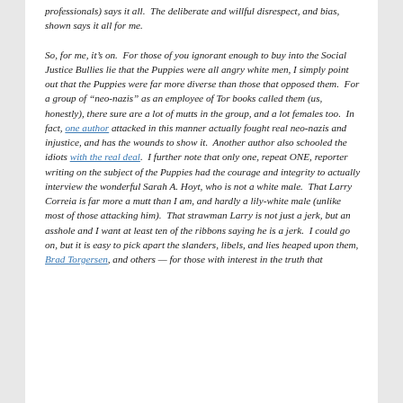professionals) says it all.  The deliberate and willful disrespect, and bias, shown says it all for me.

So, for me, it's on.  For those of you ignorant enough to buy into the Social Justice Bullies lie that the Puppies were all angry white men, I simply point out that the Puppies were far more diverse than those that opposed them.  For a group of “neo-nazis” as an employee of Tor books called them (us, honestly), there sure are a lot of mutts in the group, and a lot females too.  In fact, one author attacked in this manner actually fought real neo-nazis and injustice, and has the wounds to show it.  Another author also schooled the idiots with the real deal.  I further note that only one, repeat ONE, reporter writing on the subject of the Puppies had the courage and integrity to actually interview the wonderful Sarah A. Hoyt, who is not a white male.  That Larry Correia is far more a mutt than I am, and hardly a lily-white male (unlike most of those attacking him).  That strawman Larry is not just a jerk, but an asshole and I want at least ten of the ribbons saying he is a jerk.  I could go on, but it is easy to pick apart the slanders, libels, and lies heaped upon them, Brad Torgersen, and others — for those with interest in the truth that